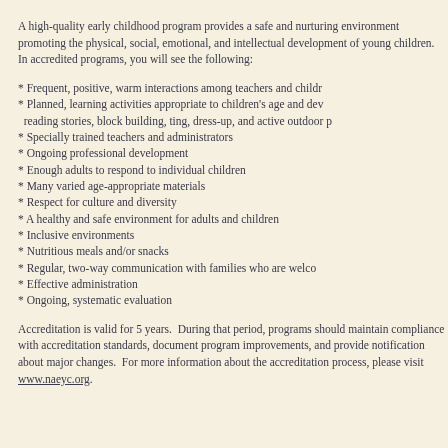A high-quality early childhood program provides a safe and nurturing environment promoting the physical, social, emotional, and intellectual development of young children. In accredited programs, you will see the following:
* Frequent, positive, warm interactions among teachers and children
* Planned, learning activities appropriate to children's age and development, reading stories, block building, ting, dress-up, and active outdoor play
* Specially trained teachers and administrators
* Ongoing professional development
* Enough adults to respond to individual children
* Many varied age-appropriate materials
* Respect for culture and diversity
* A healthy and safe environment for adults and children
* Inclusive environments
* Nutritious meals and/or snacks
* Regular, two-way communication with families who are welcome
* Effective administration
* Ongoing, systematic evaluation
Accreditation is valid for 5 years. During that period, programs should maintain compliance with accreditation standards, document program improvements, and provide notification about major changes. For more information about the accreditation process, please visit www.naeyc.org.